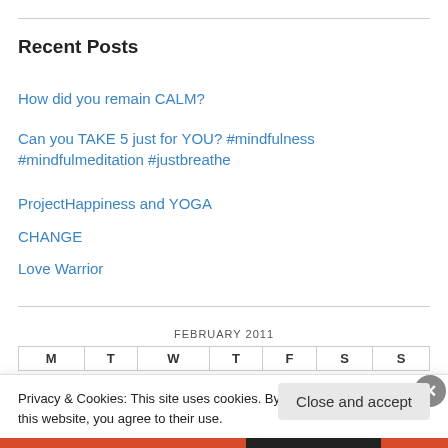Recent Posts
How did you remain CALM?
Can you TAKE 5 just for YOU? #mindfulness #mindfulmeditation #justbreathe
ProjectHappiness and YOGA
CHANGE
Love Warrior
FEBRUARY 2011
| M | T | W | T | F | S | S |
| --- | --- | --- | --- | --- | --- | --- |
Privacy & Cookies: This site uses cookies. By continuing to use this website, you agree to their use.
To find out more, including how to control cookies, see here: Cookie Policy
Close and accept